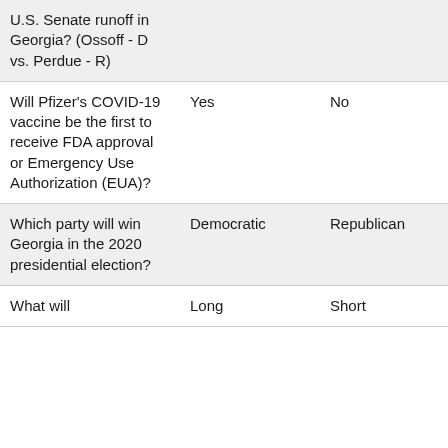| Question | Answer A | Answer B | Score |
| --- | --- | --- | --- |
| U.S. Senate runoff in Georgia? (Ossoff - D vs. Perdue - R) |  |  |  |
| Will Pfizer's COVID-19 vaccine be the first to receive FDA approval or Emergency Use Authorization (EUA)? | Yes | No | 0.40 |
| Which party will win Georgia in the 2020 presidential election? | Democratic | Republican | 0.00 |
| What will | Long | Short | 0.00 |